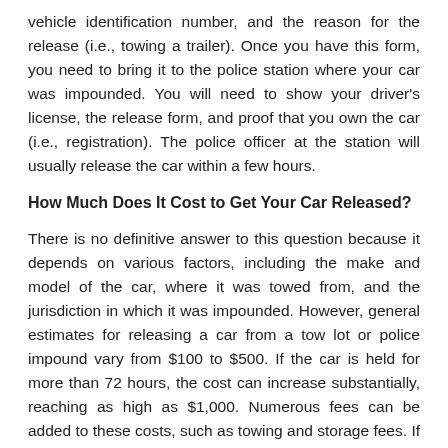vehicle identification number, and the reason for the release (i.e., towing a trailer). Once you have this form, you need to bring it to the police station where your car was impounded. You will need to show your driver's license, the release form, and proof that you own the car (i.e., registration). The police officer at the station will usually release the car within a few hours.
How Much Does It Cost to Get Your Car Released?
There is no definitive answer to this question because it depends on various factors, including the make and model of the car, where it was towed from, and the jurisdiction in which it was impounded. However, general estimates for releasing a car from a tow lot or police impound vary from $100 to $500. If the car is held for more than 72 hours, the cost can increase substantially, reaching as high as $1,000. Numerous fees can be added to these costs, such as towing and storage fees. If you find yourself in this predicament, it is best to contact your local tow truck